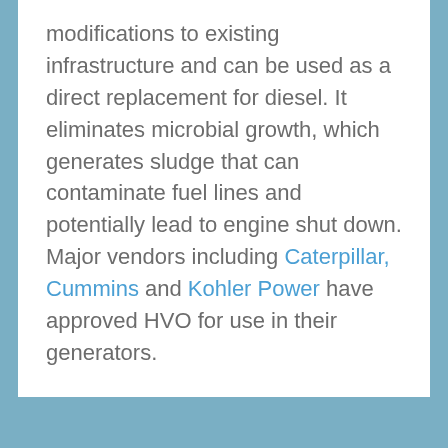modifications to existing infrastructure and can be used as a direct replacement for diesel. It eliminates microbial growth, which generates sludge that can contaminate fuel lines and potentially lead to engine shut down. Major vendors including Caterpillar, Cummins and Kohler Power have approved HVO for use in their generators.